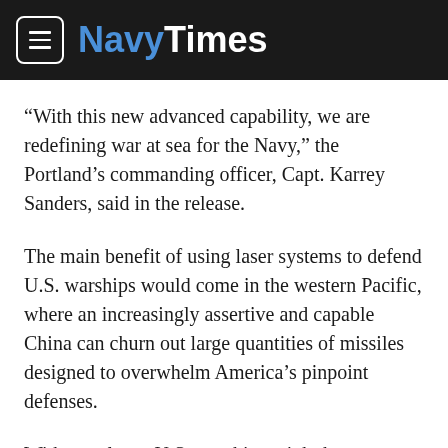NavyTimes
“With this new advanced capability, we are redefining war at sea for the Navy,” the Portland’s commanding officer, Capt. Karrey Sanders, said in the release.
The main benefit of using laser systems to defend U.S. warships would come in the western Pacific, where an increasingly assertive and capable China can churn out large quantities of missiles designed to overwhelm America’s pinpoint defenses.
Without a laser, U.S. warships might have to empty a